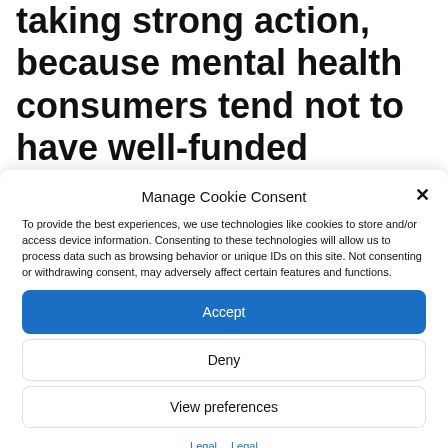taking strong action, because mental health consumers tend not to have well-funded advocacy groups. Arguing that one of the ECT manufacturers might not
Manage Cookie Consent
To provide the best experiences, we use technologies like cookies to store and/or access device information. Consenting to these technologies will allow us to process data such as browsing behavior or unique IDs on this site. Not consenting or withdrawing consent, may adversely affect certain features and functions.
Accept
Deny
View preferences
Legal  Legal